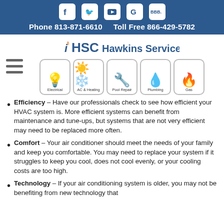Phone 813-871-6610   Toll Free 866-429-5782
[Figure (logo): HSC Hawkins Service Co. logo with five service icons: Electrical, AC & Heating, Pool Repair, Plumbing, Gas]
Efficiency – Have our professionals check to see how efficient your HVAC system is. More efficient systems can benefit from maintenance and tune-ups, but systems that are not very efficient may need to be replaced more often.
Comfort – Your air conditioner should meet the needs of your family and keep you comfortable. You may need to replace your system if it struggles to keep you cool, does not cool evenly, or your cooling costs are too high.
Technology – If your air conditioning system is older, you may not be benefiting from new technology that